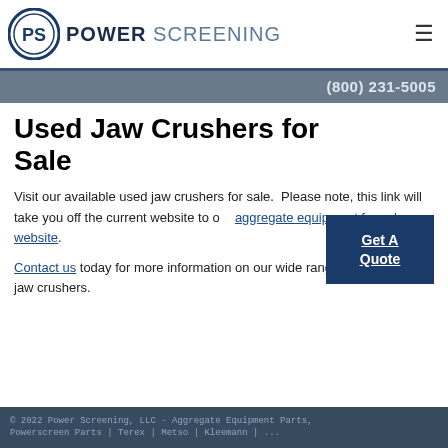[Figure (logo): Power Screening logo with circular PS emblem and company name in two-tone text]
(800) 231-5005
Used Jaw Crushers for Sale
Visit our available used jaw crushers for sale. Please note, this link will take you off the current website to our aggregate equipment for sale website.
Contact us today for more information on our wide range of Powerscreen jaw crushers.
© 2022 Power Screening, LLC - Aggregate Equipment Parts, ...